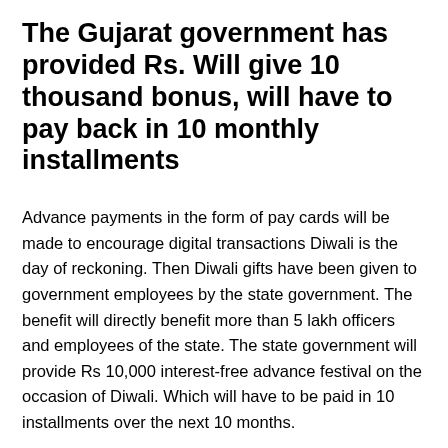The Gujarat government has provided Rs. Will give 10 thousand bonus, will have to pay back in 10 monthly installments
Advance payments in the form of pay cards will be made to encourage digital transactions Diwali is the day of reckoning. Then Diwali gifts have been given to government employees by the state government. The benefit will directly benefit more than 5 lakh officers and employees of the state. The state government will provide Rs 10,000 interest-free advance festival on the occasion of Diwali. Which will have to be paid in 10 installments over the next 10 months.
Government employees will be able to buy::
The government has decided to give advance festival bonus